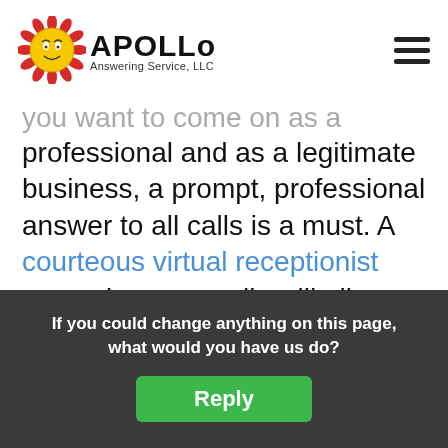APOLLO Answering Service, LLC
you want to come on as a professional and as a legitimate business, a prompt, professional answer to all calls is a must. A courteous virtual receptionist screening your calls will allow you to put up the professional image you would like to convey, even if you don't yet have an office!
You're often
If you could change anything on this page, what would you have us do?
Reply